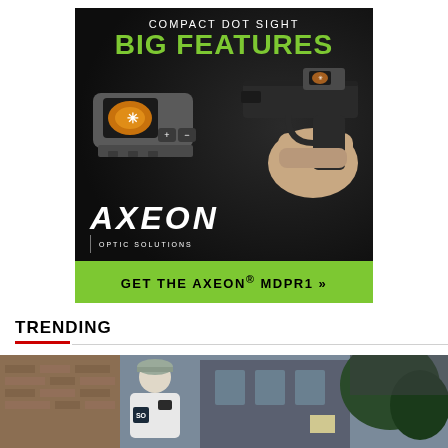[Figure (illustration): AXEON Optic Solutions advertisement showing a compact red dot sight and a person holding a pistol with the sight mounted. Dark background with green text. Text reads: COMPACT DOT SIGHT / BIG FEATURES. AXEON OPTIC SOLUTIONS logo. Green bar at bottom: GET THE AXEON® MDPR1 »]
TRENDING
[Figure (photo): Photo of a person in a white uniform/shirt outdoors near a brick building]